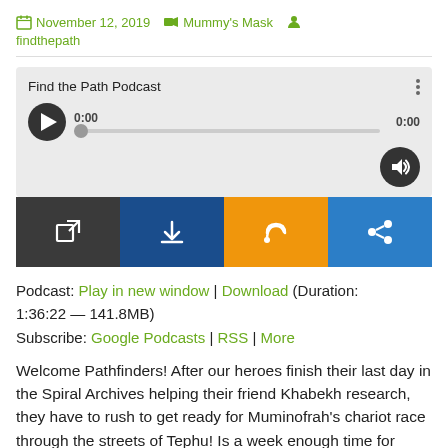November 12, 2019   Mummy's Mask   findthepath
[Figure (screenshot): Podcast audio player widget showing 'Find the Path Podcast' with play button, progress bar at 0:00, volume button, and action bar with open, download, RSS, and share buttons]
Podcast: Play in new window | Download (Duration: 1:36:22 — 141.8MB)
Subscribe: Google Podcasts | RSS | More
Welcome Pathfinders! After our heroes finish their last day in the Spiral Archives helping their friend Khabekh research, they have to rush to get ready for Muminofrah's chariot race through the streets of Tephu! Is a week enough time for Falto to whip